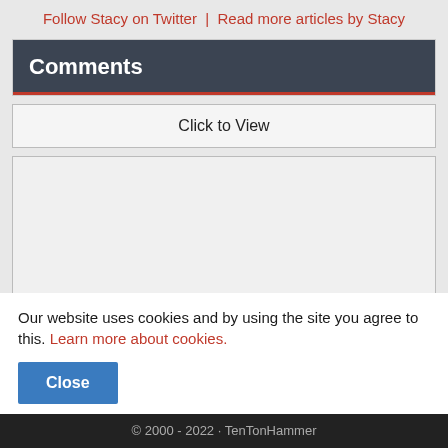Follow Stacy on Twitter  |  Read more articles by Stacy
Comments
Click to View
Our website uses cookies and by using the site you agree to this. Learn more about cookies.
Close
© 2000 - 2022 · TenTonHammer